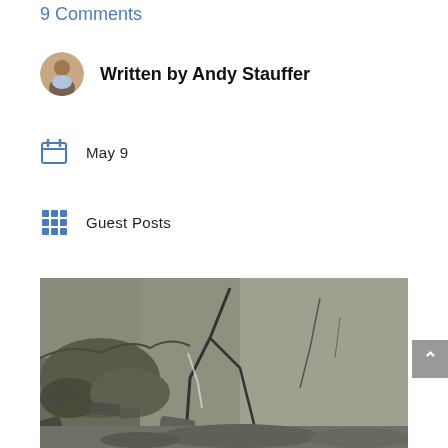9 Comments
Written by Andy Stauffer
May 9
Guest Posts
[Figure (photo): Cracked and broken concrete slab with rubble and debris on the ground, shown in grayscale/muted tones.]